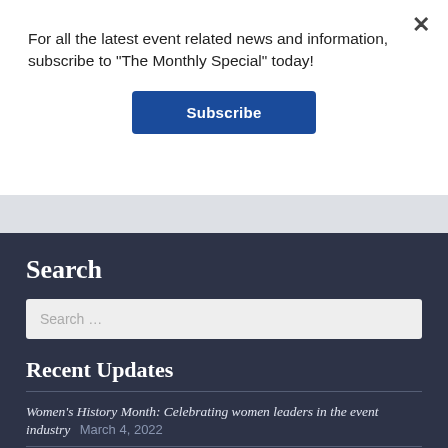For all the latest event related news and information, subscribe to "The Monthly Special" today!
Subscribe
Search
Search ...
Recent Updates
Women's History Month: Celebrating women leaders in the event industry  March 4, 2022
City Announces Further Restrictions on Public Gathering  March 13, 2020